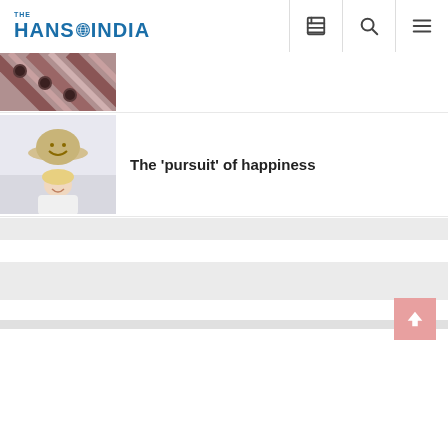[Figure (logo): The Hans India newspaper logo with globe icon]
[Figure (photo): Partially visible article thumbnail showing diagonal striped textile/fabric pattern]
[Figure (photo): Woman smiling holding a smiley face hat/balloon against light background]
The 'pursuit' of happiness